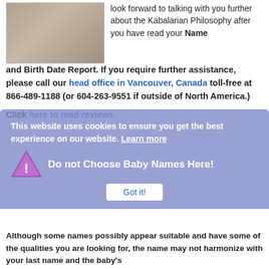[Figure (photo): Group photo of several people in formal attire]
look forward to talking with you further about the Kabalarian Philosophy after you have read your Name and Birth Date Report. If you require further assistance, please call our head office in Vancouver, Canada toll-free at 866-489-1188 (or 604-263-9551 if outside of North America.)
Click here to read reviews.
This website uses cookies to ensure you get the best experience on our website. Learn more
Do not Choose Baby Names Here!
Although some names possibly appear suitable and have some of the qualities you are looking for, the name may not harmonize with your last name and the baby's